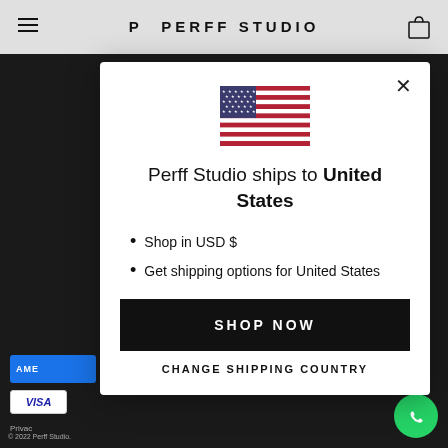PERFF STUDIO
[Figure (screenshot): US flag emoji / SVG displayed in the center of a modal dialog]
Perff Studio ships to United States
Shop in USD $
Get shipping options for United States
SHOP NOW
CHANGE SHIPPING COUNTRY